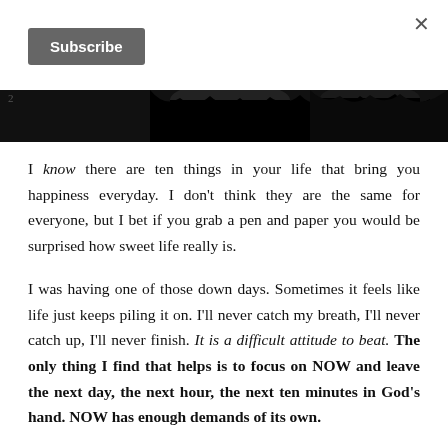×
[Figure (other): Subscribe button (dark grey rectangle with white bold text 'Subscribe')]
[Figure (photo): Partial image strip showing dark silhouetted figures or decorative images against a black background, with a small number '2' at the left edge.]
I know there are ten things in your life that bring you happiness everyday. I don't think they are the same for everyone, but I bet if you grab a pen and paper you would be surprised how sweet life really is.
I was having one of those down days. Sometimes it feels like life just keeps piling it on. I'll never catch my breath, I'll never catch up, I'll never finish. It is a difficult attitude to beat. The only thing I find that helps is to focus on NOW and leave the next day, the next hour, the next ten minutes in God's hand. NOW has enough demands of its own.
Today I gulped back frustration as I looked at my to-